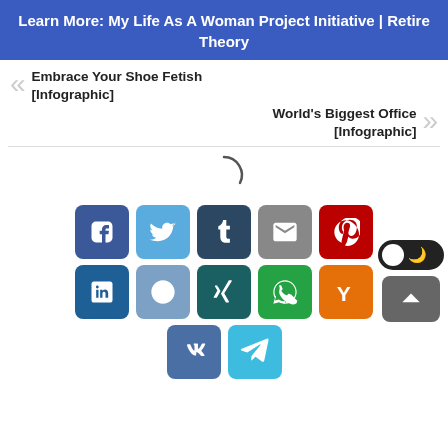Learn More: My Life As A Woman Project Initiative | Retire Theory
« Embrace Your Shoe Fetish [Infographic]
World's Biggest Office [Infographic] »
[Figure (infographic): Loading spinner arc]
[Figure (infographic): Social media share buttons grid: Facebook, Twitter, Tumblr, Email, Pinterest, LinkedIn, Reddit, Xing, WhatsApp, Yummly, VK, Telegram. Plus dark mode toggle and back-to-top button.]